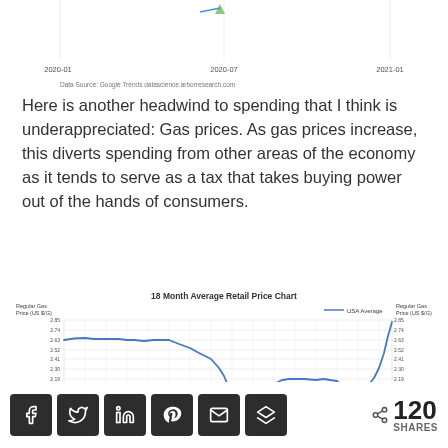[Figure (continuous-plot): Top remnant of a previous chart showing x-axis labels 2020-01, 2020-07, 2021-01 and a data source credit: Data Source: Google Trends  datascience.arborresearch.com]
Here is another headwind to spending that I think is underappreciated: Gas prices. As gas prices increase, this diverts spending from other areas of the economy as it tends to serve as a tax that takes buying power out of the hands of consumers.
[Figure (line-chart): Line chart showing USA Average Regular Gas Price (US $/G) from 2019 to 2021. Price starts around 2.63 in 2019, drops sharply to a low of about 1.74 in mid-2020, then rises steeply to approximately 2.85 by early 2021. Y-axis shows values from 1.74 to 2.85. X-axis shows monthly dates from 2019 through 2021.]
120 SHARES (social sharing bar with Facebook, Twitter, LinkedIn, Pinterest, Email, Buffer icons)